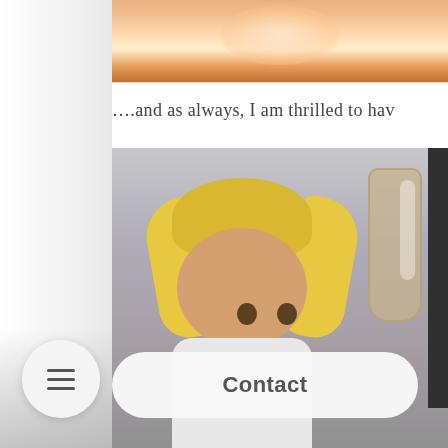[Figure (photo): Partial photo of a person, cropped at top, showing warm pinkish-orange tones with a bright highlight in the center]
….and as always, I am thrilled to hav
[Figure (photo): Photo of a blonde woman with pigtails looking up at camera from a low angle, holding something on the right side, in an indoor setting with a light gray ceiling]
[Figure (other): Circular menu hamburger button (three horizontal lines) on the left side]
Contact